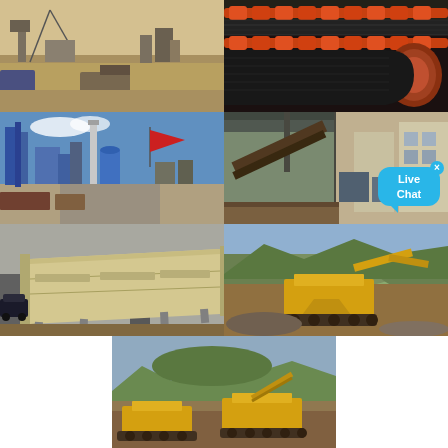[Figure (photo): Mining or drilling site in arid/desert landscape with machinery and equipment structures]
[Figure (photo): Close-up of industrial conveyor belt system with orange/red rollers and mesh]
[Figure (photo): Large industrial plant/factory with a red flag, silos and smokestacks, blue sky]
[Figure (photo): Interior of industrial facility with conveyor and machinery, Live Chat overlay bubble]
[Figure (photo): Large vibrating screen/feeder machine on mining ground with car nearby]
[Figure (photo): Yellow mobile jaw crusher and excavator working in rocky/hill terrain]
[Figure (photo): Wide panorama of open-pit mining with yellow mobile crushing equipment and hilly landscape]
[Figure (photo): Crushing plant with orange/red and grey towers in a mountainous forested area]